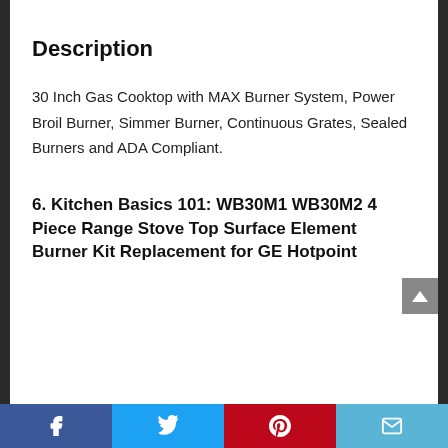Description
30 Inch Gas Cooktop with MAX Burner System, Power Broil Burner, Simmer Burner, Continuous Grates, Sealed Burners and ADA Compliant.
6. Kitchen Basics 101: WB30M1 WB30M2 4 Piece Range Stove Top Surface Element Burner Kit Replacement for GE Hotpoint
Facebook | Twitter | Pinterest | Email